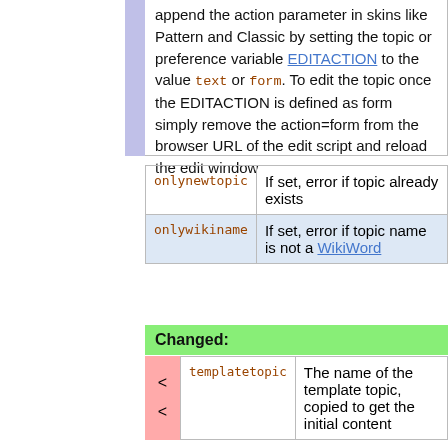append the action parameter in skins like Pattern and Classic by setting the topic or preference variable EDITACTION to the value text or form. To edit the topic once the EDITACTION is defined as form simply remove the action=form from the browser URL of the edit script and reload the edit window
| onlynewtopic | If set, error if topic already exists |
| onlywikiname | If set, error if topic name is not a WikiWord |
Changed:
| templatetopic | The name of the template topic, copied to get the initial content |
| templatetopic | The name of the template topic, copied to get the initial content (new topic only) |